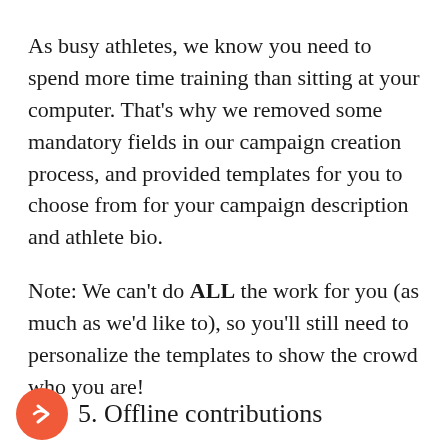As busy athletes, we know you need to spend more time training than sitting at your computer. That’s why we removed some mandatory fields in our campaign creation process, and provided templates for you to choose from for your campaign description and athlete bio.
Note: We can’t do ALL the work for you (as much as we’d like to), so you’ll still need to personalize the templates to show the crowd who you are!
5. Offline contributions